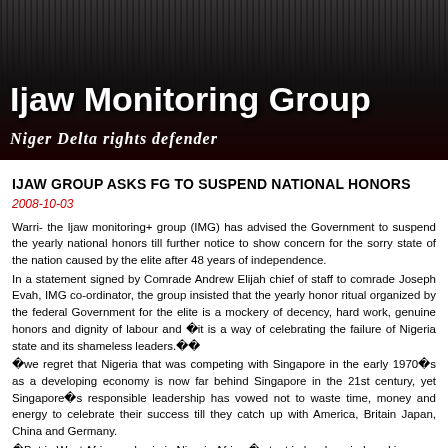Ijaw Monitoring Group
Niger Delta rights defender
IJAW GROUP ASKS FG TO SUSPEND NATIONAL HONORS
2008-10-03
Warri- the Ijaw monitoring+ group (IMG) has advised the Government to suspend the yearly national honors till further notice to show concern for the sorry state of the nation caused by the elite after 48 years of independence.
In a statement signed by Comrade Andrew Elijah chief of staff to comrade Joseph Evah, IMG co-ordinator, the group insisted that the yearly honor ritual organized by the federal Government for the elite is a mockery of decency, hard work, genuine honors and dignity of labour and ￾dit is a way of celebrating the failure of Nigeria state and its shameless leaders.￾dd
￾dwe regret that Nigeria that was competing with Singapore in the early 1970￭s as a developing economy is now far behind Singapore in the 21st century, yet Singapore￭s responsible leadership has vowed not to waste time, money and energy to celebrate their success till they catch up with America, Britain Japan, China and Germany.
￾Butin West Africa and vein in Nigeria Africa ￾currenteistedlevelareinduced